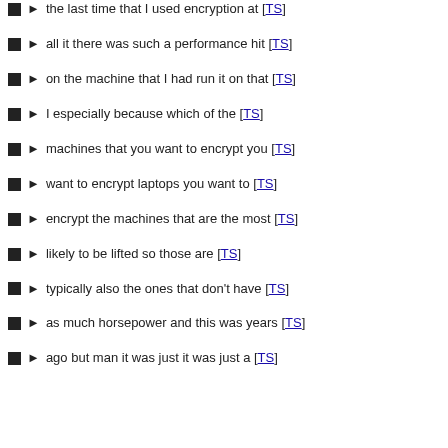the last time that I used encryption at [TS]
all it there was such a performance hit [TS]
on the machine that I had run it on that [TS]
I especially because which of the [TS]
machines that you want to encrypt you [TS]
want to encrypt laptops you want to [TS]
encrypt the machines that are the most [TS]
likely to be lifted so those are [TS]
typically also the ones that don't have [TS]
as much horsepower and this was years [TS]
ago but man it was just it was just a [TS]